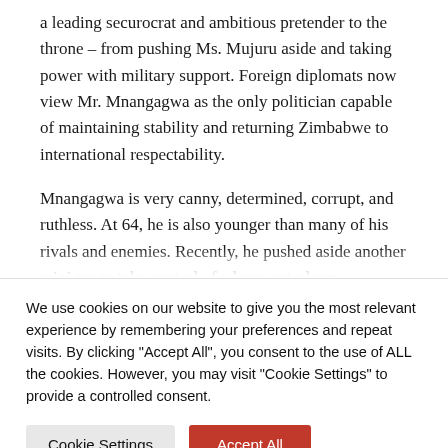a leading securocrat and ambitious pretender to the throne – from pushing Ms. Mujuru aside and taking power with military support. Foreign diplomats now view Mr. Mnangagwa as the only politician capable of maintaining stability and returning Zimbabwe to international respectability.
Mnangagwa is very canny, determined, corrupt, and ruthless. At 64, he is also younger than many of his rivals and enemies. Recently, he pushed aside another minister to take control of a large petroleum distribution complex
We use cookies on our website to give you the most relevant experience by remembering your preferences and repeat visits. By clicking "Accept All", you consent to the use of ALL the cookies. However, you may visit "Cookie Settings" to provide a controlled consent.